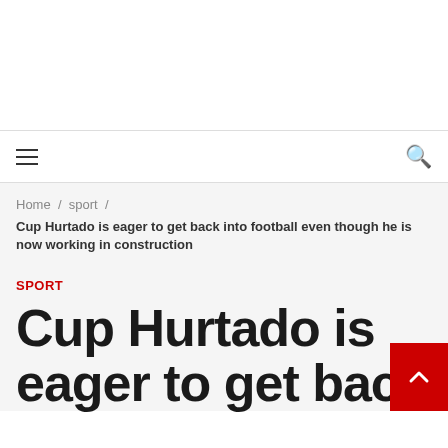Home / sport / Cup Hurtado is eager to get back into football even though he is now working in construction
SPORT
Cup Hurtado is eager to get back